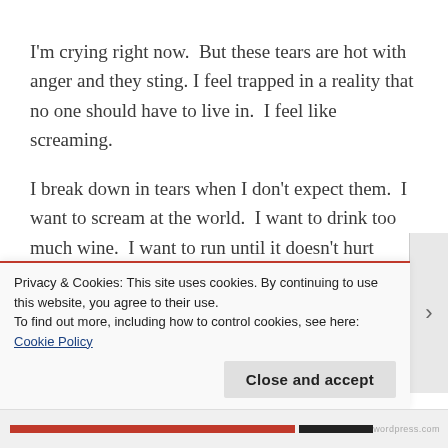I'm crying right now.  But these tears are hot with anger and they sting. I feel trapped in a reality that no one should have to live in.  I feel like screaming.
I break down in tears when I don't expect them.  I want to scream at the world.  I want to drink too much wine.  I want to run until it doesn't hurt anymore.  I don't want to be nice.  I want to use vulgar language.  I want to drop an f-bomb.  I want to park behind the next person I see parked illegally in a handicapp spot and honk at them.  I really want
Privacy & Cookies: This site uses cookies. By continuing to use this website, you agree to their use.
To find out more, including how to control cookies, see here:
Cookie Policy
Close and accept